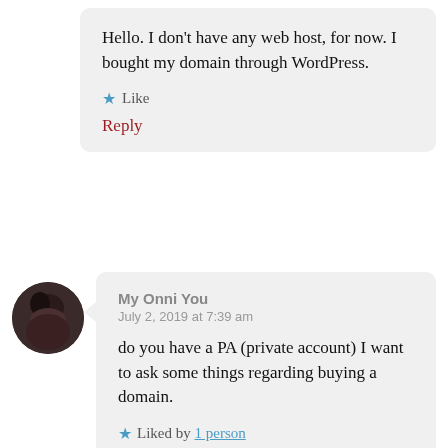Hello. I don't have any web host, for now. I bought my domain through WordPress.
★ Like
Reply
My Onni You
July 2, 2019 at 7:39 am
do you have a PA (private account) I want to ask some things regarding buying a domain.
★ Liked by 1 person